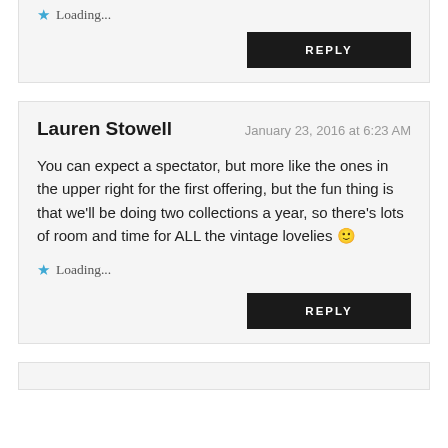Loading...
REPLY
Lauren Stowell
January 23, 2016 at 6:23 AM
You can expect a spectator, but more like the ones in the upper right for the first offering, but the fun thing is that we'll be doing two collections a year, so there's lots of room and time for ALL the vintage lovelies 🙂
Loading...
REPLY